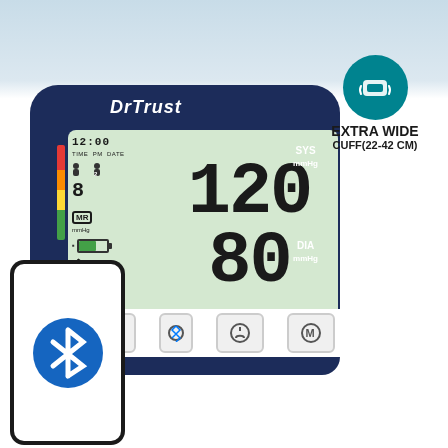[Figure (photo): DrTrust blood pressure monitor with large LCD display showing SYS 120 mmHg and DIA 80 mmHg readings, with Bluetooth connectivity and a smartphone showing Bluetooth icon. Extra wide cuff badge (22-42 CM) shown in top right.]